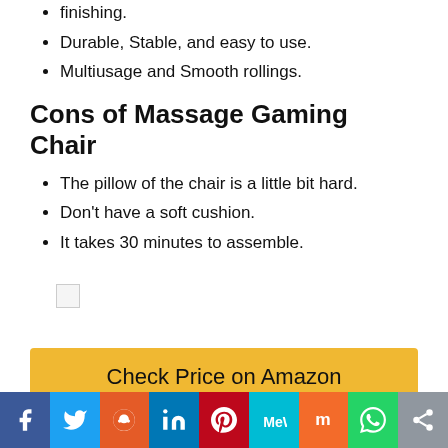finishing.
Durable, Stable, and easy to use.
Multiusage and Smooth rollings.
Cons of Massage Gaming Chair
The pillow of the chair is a little bit hard.
Don't have a soft cushion.
It takes 30 minutes to assemble.
[Figure (other): Broken image placeholder]
Check Price on Amazon
[Figure (other): Social media sharing bar with Facebook, Twitter, Reddit, LinkedIn, Pinterest, MeWe, Mix, WhatsApp, and Share icons]